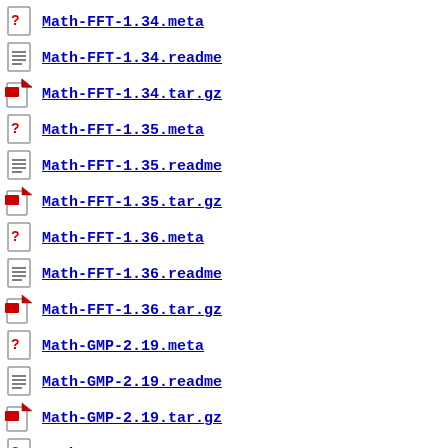Math-FFT-1.34.meta
Math-FFT-1.34.readme
Math-FFT-1.34.tar.gz
Math-FFT-1.35.meta
Math-FFT-1.35.readme
Math-FFT-1.35.tar.gz
Math-FFT-1.36.meta
Math-FFT-1.36.readme
Math-FFT-1.36.tar.gz
Math-GMP-2.19.meta
Math-GMP-2.19.readme
Math-GMP-2.19.tar.gz
Math-GMP-2.20.meta
Math-GMP-2.20.readme
Math-GMP-2.20.tar.gz
Math-GMP-2.21.meta
Math-GMP-2.21.readme
Math-GMP-2.21.tar.gz